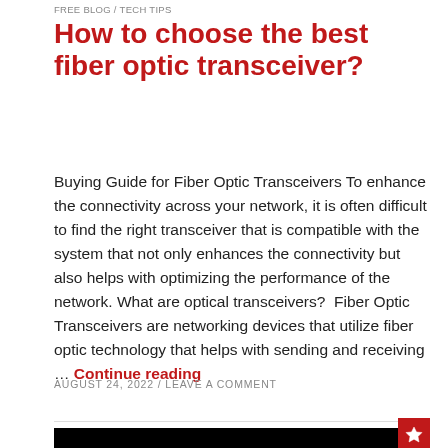FREE BLOG / TECH TIPS
How to choose the best fiber optic transceiver?
Buying Guide for Fiber Optic Transceivers To enhance the connectivity across your network, it is often difficult to find the right transceiver that is compatible with the system that not only enhances the connectivity but also helps with optimizing the performance of the network. What are optical transceivers?  Fiber Optic Transceivers are networking devices that utilize fiber optic technology that helps with sending and receiving … Continue reading
AUGUST 24, 2022 / LEAVE A COMMENT
[Figure (photo): Dark/black image area with a red pin icon in top-right corner]